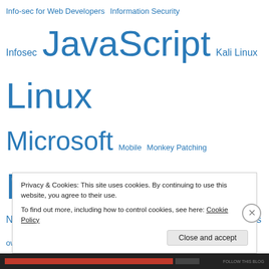Info-sec for Web Developers Information Security Infosec JavaScript Kali Linux Linux Microsoft Mobile Monkey Patching Networking NMap node Node.js NodeJS NPM operational efficiencies owasp performance PowerShell prototype Scripting Scrum scrum master Security SMB/CIFS SSH sysadmin tdd telnet test testing Unit testing UPS Version Control Virtualisation VPS WCF Web Web Application Security Web Security
Privacy & Cookies: This site uses cookies. By continuing to use this website, you agree to their use. To find out more, including how to control cookies, see here: Cookie Policy
Close and accept